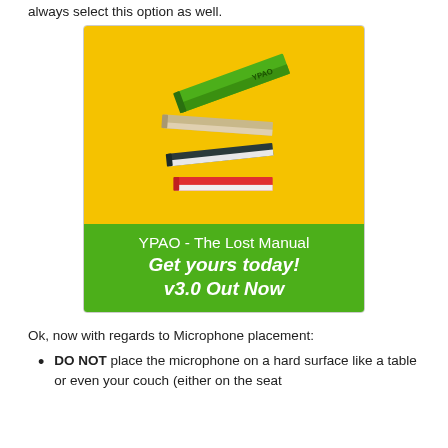always select this option as well.
[Figure (illustration): Advertisement image for 'YPAO - The Lost Manual'. Yellow background with stacked floating books on top. Green banner below with text: 'YPAO - The Lost Manual / Get yours today! / v3.0 Out Now']
Ok, now with regards to Microphone placement:
DO NOT place the microphone on a hard surface like a table or even your couch (either on the seat